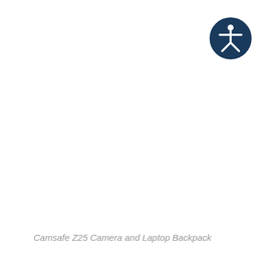[Figure (logo): Accessibility icon: dark navy blue circle with a white stylized human figure (arms outstretched) inside, representing accessibility/wheelchair accessibility symbol]
Camsafe Z25 Camera and Laptop Backpack